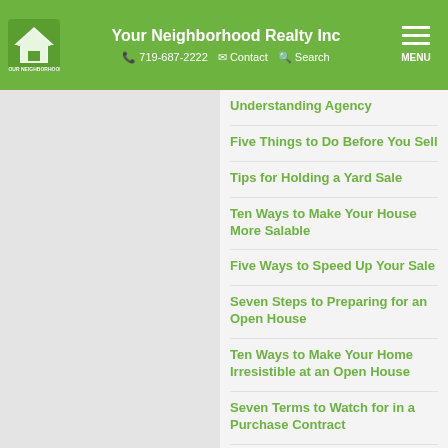Your Neighborhood Realty Inc | 719-687-2222 | Contact | Search
Understanding Agency
Five Things to Do Before You Sell
Tips for Holding a Yard Sale
Ten Ways to Make Your House More Salable
Five Ways to Speed Up Your Sale
Seven Steps to Preparing for an Open House
Ten Ways to Make Your Home Irresistible at an Open House
Seven Terms to Watch for in a Purchase Contract
Questions to Ask When Choosing a Real Estate Practitioner